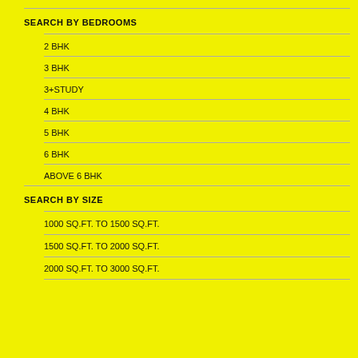SEARCH BY BEDROOMS
2 BHK
3 BHK
3+STUDY
4 BHK
5 BHK
6 BHK
ABOVE 6 BHK
SEARCH BY SIZE
1000 SQ.FT. TO 1500 SQ.FT.
1500 SQ.FT. TO 2000 SQ.FT.
2000 SQ.FT. TO 3000 SQ.FT.